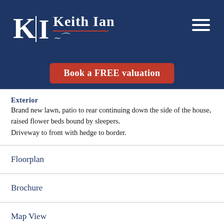[Figure (logo): Keith Ian estate agency logo with KI monogram in white on dark navy background, with red underline and decorative swirl]
Book a FREE valuation
Exterior
Brand new lawn, patio to rear continuing down the side of the house, raised flower beds bound by sleepers.
Driveway to front with hedge to border.
Floorplan
Brochure
Map View
Street View